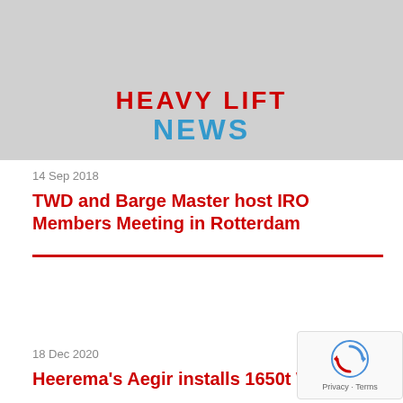[Figure (logo): Heavy Lift News logo banner with red 'HEAVY LIFT' text and blue 'NEWS' text on grey background]
14 Sep 2018
TWD and Barge Master host IRO Members Meeting in Rotterdam
18 Dec 2020
Heerema's Aegir installs 1650t Water